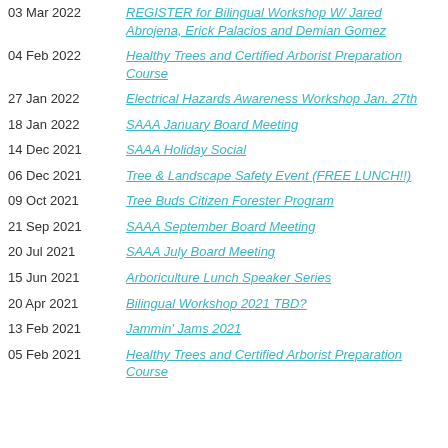03 Mar 2022 | REGISTER for Bilingual Workshop W/ Jared Abrojena, Erick Palacios and Demian Gomez
04 Feb 2022 | Healthy Trees and Certified Arborist Preparation Course
27 Jan 2022 | Electrical Hazards Awareness Workshop Jan. 27th
18 Jan 2022 | SAAA January Board Meeting
14 Dec 2021 | SAAA Holiday Social
06 Dec 2021 | Tree & Landscape Safety Event (FREE LUNCH!!)
09 Oct 2021 | Tree Buds Citizen Forester Program
21 Sep 2021 | SAAA September Board Meeting
20 Jul 2021 | SAAA July Board Meeting
15 Jun 2021 | Arboriculture Lunch Speaker Series
20 Apr 2021 | Bilingual Workshop 2021 TBD?
13 Feb 2021 | Jammin' Jams 2021
05 Feb 2021 | Healthy Trees and Certified Arborist Preparation Course